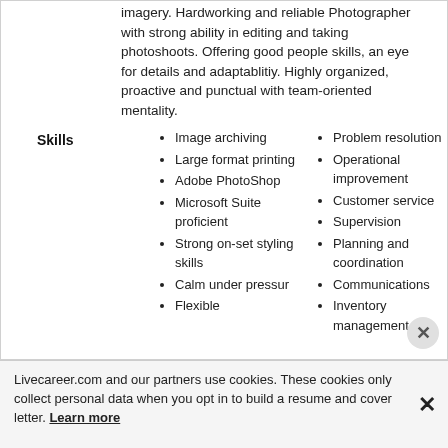imagery. Hardworking and reliable Photographer with strong ability in editing and taking photoshoots. Offering good people skills, an eye for details and adaptablitiy. Highly organized, proactive and punctual with team-oriented mentality.
Skills
Image archiving
Large format printing
Adobe PhotoShop
Microsoft Suite proficient
Strong on-set styling skills
Calm under pressur
Flexible
Problem resolution
Operational improvement
Customer service
Supervision
Planning and coordination
Communications
Inventory management
Livecareer.com and our partners use cookies. These cookies only collect personal data when you opt in to build a resume and cover letter. Learn more